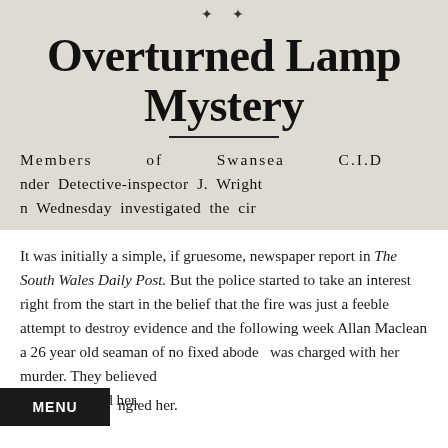[Figure (photo): Scanned newspaper clipping showing headline 'Overturned Lamp Mystery' with ornamental divider and subheadline text about Members of Swansea C.I.D. under Detective-inspector J. Wright investigating on Wednesday]
It was initially a simple, if gruesome, newspaper report in The South Wales Daily Post. But the police started to take an interest right from the start in the belief that the fire was just a feeble attempt to destroy evidence and the following week Allan Maclean a 26 year old seaman of no fixed abode  was charged with her murder. They believed he had strangled her.
MENU